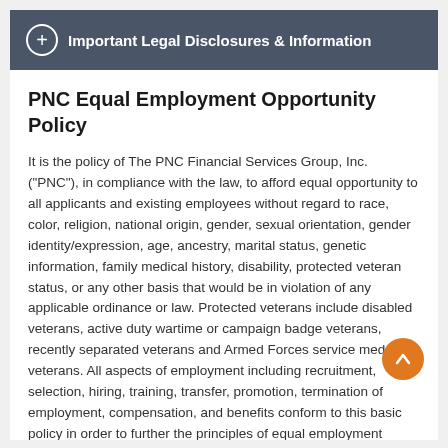Important Legal Disclosures & Information
PNC Equal Employment Opportunity Policy
It is the policy of The PNC Financial Services Group, Inc. ("PNC"), in compliance with the law, to afford equal opportunity to all applicants and existing employees without regard to race, color, religion, national origin, gender, sexual orientation, gender identity/expression, age, ancestry, marital status, genetic information, family medical history, disability, protected veteran status, or any other basis that would be in violation of any applicable ordinance or law. Protected veterans include disabled veterans, active duty wartime or campaign badge veterans, recently separated veterans and Armed Forces service medal veterans. All aspects of employment including recruitment, selection, hiring, training, transfer, promotion, termination of employment, compensation, and benefits conform to this basic policy in order to further the principles of equal employment opportunity. PNC does not permit, condone or tolerate unlawful discrimination, bias or harassment.
The Employee Relations Information Center (ERIC) is available